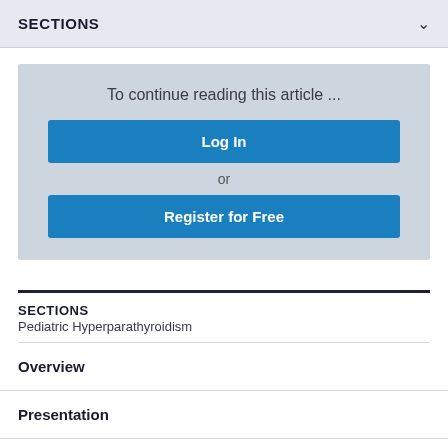SECTIONS
To continue reading this article ...
Log In
or
Register for Free
SECTIONS
Pediatric Hyperparathyroidism
Overview
Presentation
DDx